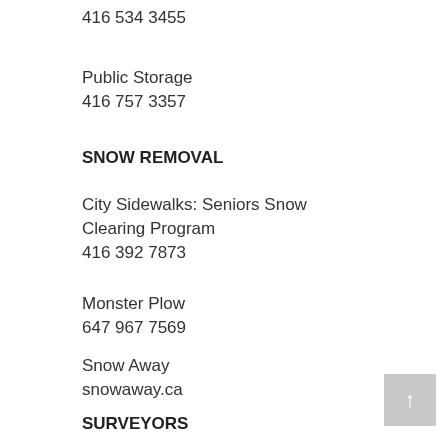416 534 3455
Public Storage
416 757 3357
SNOW REMOVAL
City Sidewalks: Seniors Snow Clearing Program
416 392 7873
Monster Plow
647 967 7569
Snow Away
snowaway.ca
SURVEYORS
Alliance Surveys
Frank Chow